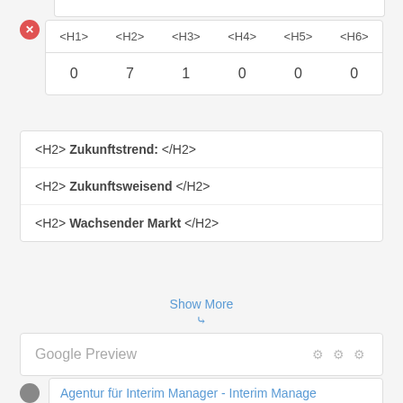| <H1> | <H2> | <H3> | <H4> | <H5> | <H6> |
| --- | --- | --- | --- | --- | --- |
| 0 | 7 | 1 | 0 | 0 | 0 |
<H2> Zukunftstrend: </H2>
<H2> Zukunftsweisend </H2>
<H2> Wachsender Markt </H2>
Show More
Google Preview
Agentur für Interim Manager - Interim Manage